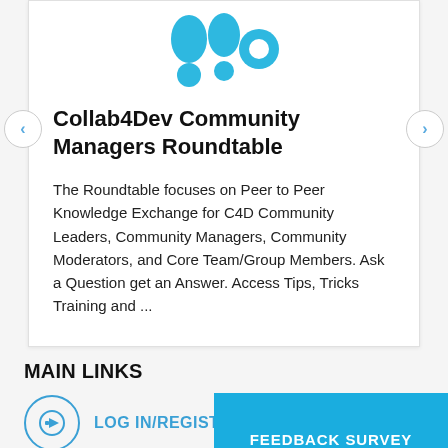[Figure (logo): Blue logo with circular and teardrop shapes on white card background]
Collab4Dev Community Managers Roundtable
The Roundtable focuses on Peer to Peer Knowledge Exchange for C4D Community Leaders, Community Managers, Community Moderators, and Core Team/Group Members. Ask a Question get an Answer. Access Tips, Tricks Training and ...
MAIN LINKS
LOG IN/REGISTER
FEEDBACK SURVEY